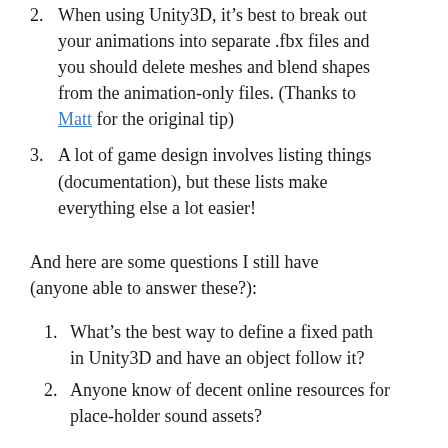2. When using Unity3D, it's best to break out your animations into separate .fbx files and you should delete meshes and blend shapes from the animation-only files. (Thanks to Matt for the original tip)
3. A lot of game design involves listing things (documentation), but these lists make everything else a lot easier!
And here are some questions I still have (anyone able to answer these?):
1. What's the best way to define a fixed path in Unity3D and have an object follow it?
2. Anyone know of decent online resources for place-holder sound assets?